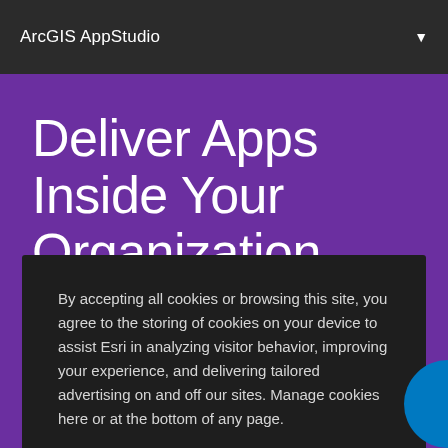ArcGIS AppStudio
Deliver Apps Inside Your Organization
By accepting all cookies or browsing this site, you agree to the storing of cookies on your device to assist Esri in analyzing visitor behavior, improving your experience, and delivering tailored advertising on and off our sites. Manage cookies here or at the bottom of any page.
Accept All Cookies
Cookies Settings